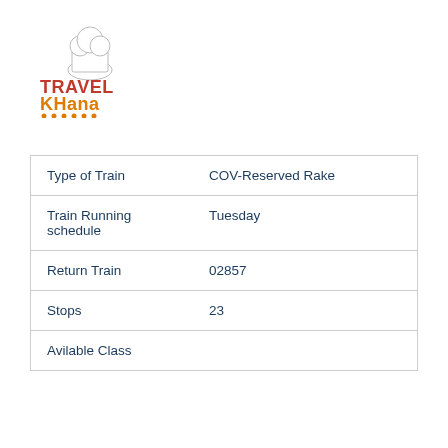[Figure (logo): TravelKhana logo with chef hat icon, TRAVEL text in red and KHANA text in orange/yellow, with decorative dots underline]
| Type of Train | COV-Reserved Rake |
| Train Running schedule | Tuesday |
| Return Train | 02857 |
| Stops | 23 |
| Avilable Class |  |